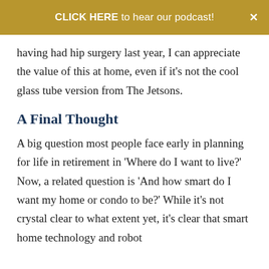CLICK HERE to hear our podcast!
having had hip surgery last year, I can appreciate the value of this at home, even if it's not the cool glass tube version from The Jetsons.
A Final Thought
A big question most people face early in planning for life in retirement in ‘Where do I want to live?’ Now, a related question is ‘And how smart do I want my home or condo to be?’ While it’s not crystal clear to what extent yet, it’s clear that smart home technology and robot